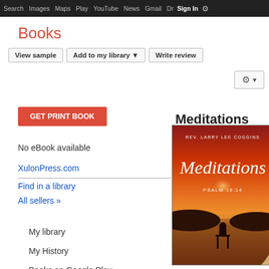Search  Images  Maps  Play  YouTube  News  Gmail  Drive  More  Sign In  ⚙
Books
View sample  |  Add to my library ▼  |  Write review
GET PRINT BOOK
[Figure (screenshot): Book cover for Meditations by Rev. Larry Lee Coggins, Psalm 19:14, published by Xulon Press. Orange/red sunset background with person sitting on dock.]
Meditations
Larry
Xulon
pages
★★★
0 Reviews
The b "Med is a comp
More
No eBook available
XulonPress.com
Find in a library
All sellers »
My library
My History
Books on Google Play